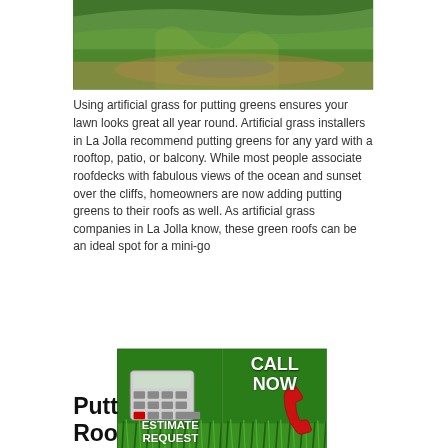[Figure (photo): Artificial grass / putting green installation photo showing green turf and lawn area]
Using artificial grass for putting greens ensures your lawn looks great all year round. Artificial grass installers in La Jolla recommend putting greens for any yard with a rooftop, patio, or balcony. While most people associate roofdecks with fabulous views of the ocean and sunset over the cliffs, homeowners are now adding putting greens to their roofs as well. As artificial grass companies in La Jolla know, these green roofs can be an ideal spot for a mini-go
[Figure (infographic): Banner overlay with two sections: left side shows 'ESTIMATE REQUEST' with calculator graphic on green grass background; right side shows 'CALL NOW' with red telephone handset on green grass background]
Putt
Roo